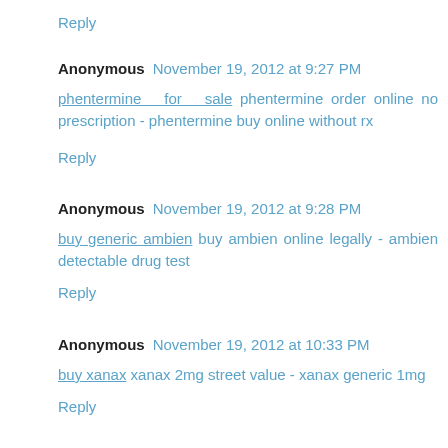Reply
Anonymous  November 19, 2012 at 9:27 PM
phentermine for sale phentermine order online no prescription - phentermine buy online without rx
Reply
Anonymous  November 19, 2012 at 9:28 PM
buy generic ambien buy ambien online legally - ambien detectable drug test
Reply
Anonymous  November 19, 2012 at 10:33 PM
buy xanax xanax 2mg street value - xanax generic 1mg
Reply